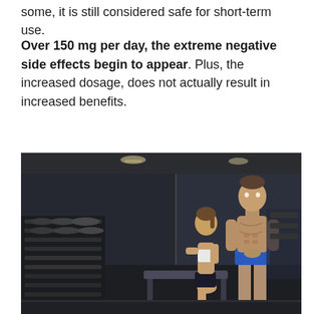some, it is still considered safe for short-term use.
Over 150 mg per day, the extreme negative side effects begin to appear. Plus, the increased dosage, does not actually result in increased benefits.
[Figure (photo): Two muscular athletes — a woman in workout attire kneeling on a bench and a shirtless man standing — posing in a dark gym with dumbbells and equipment visible in the background.]